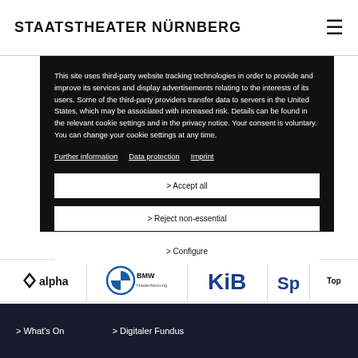STAATSTHEATER NÜRNBERG
This site uses third-party website tracking technologies in order to provide and improve its services and display advertisements relating to the interests of its users. Some of the third-party providers transfer data to servers in the United States, which may be associated with increased risk. Details can be found in the relevant cookie settings and in the privacy notice. Your consent is voluntary. You can change your cookie settings at any time.
Further information
Data protection
Imprint
> Accept all
> Reject non-essential
> Configure
[Figure (logo): alpha logo]
[Figure (logo): BMW Niederlassung logo]
[Figure (logo): KiB logo]
[Figure (logo): Sp partial logo]
> What's On   > Digitaler Fundus